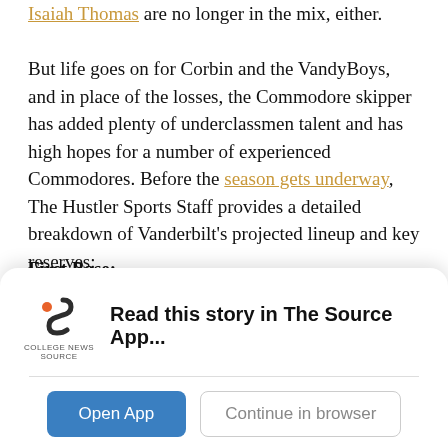Isaiah Thomas are no longer in the mix, either. But life goes on for Corbin and the VandyBoys, and in place of the losses, the Commodore skipper has added plenty of underclassmen talent and has high hopes for a number of experienced Commodores. Before the season gets underway, The Hustler Sports Staff provides a detailed breakdown of Vanderbilt's projected lineup and key reserves:
First Base:
Projected Starter: Tate Kolwyck
In one of the most interesting preseason position battles, it seems that senior Tate Kolwyck will take over for Dominic
[Figure (other): App download banner for College News Source app with logo, 'Read this story in The Source App...' text, 'Open App' and 'Continue in browser' buttons]